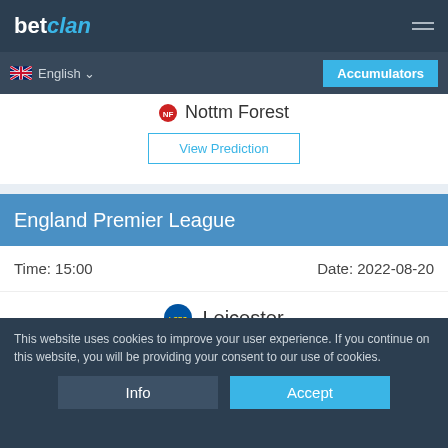betclan
English | Accumulators
Nottm Forest
View Prediction
England Premier League
Time: 15:00   Date: 2022-08-20
Leicester vs
This website uses cookies to improve your user experience. If you continue on this website, you will be providing your consent to our use of cookies.
Info | Accept